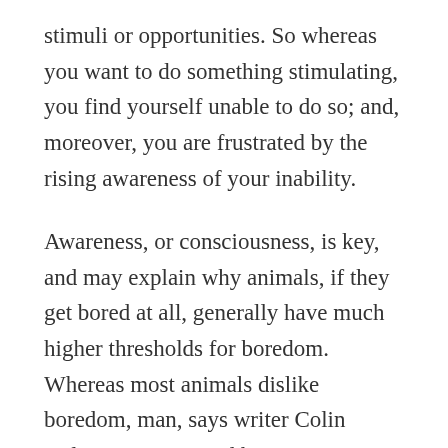stimuli or opportunities. So whereas you want to do something stimulating, you find yourself unable to do so; and, moreover, you are frustrated by the rising awareness of your inability.
Awareness, or consciousness, is key, and may explain why animals, if they get bored at all, generally have much higher thresholds for boredom. Whereas most animals dislike boredom, man, says writer Colin Wilson, is tormented by it.
In man, boredom is often brought about or